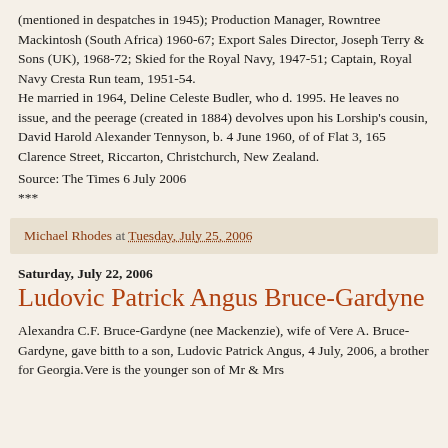(mentioned in despatches in 1945); Production Manager, Rowntree Mackintosh (South Africa) 1960-67; Export Sales Director, Joseph Terry & Sons (UK), 1968-72; Skied for the Royal Navy, 1947-51; Captain, Royal Navy Cresta Run team, 1951-54.
He married in 1964, Deline Celeste Budler, who d. 1995. He leaves no issue, and the peerage (created in 1884) devolves upon his Lorship's cousin, David Harold Alexander Tennyson, b. 4 June 1960, of of Flat 3, 165 Clarence Street, Riccarton, Christchurch, New Zealand.
Source: The Times 6 July 2006
***
Michael Rhodes at Tuesday, July 25, 2006
Saturday, July 22, 2006
Ludovic Patrick Angus Bruce-Gardyne
Alexandra C.F. Bruce-Gardyne (nee Mackenzie), wife of Vere A. Bruce-Gardyne, gave bitth to a son, Ludovic Patrick Angus, 4 July, 2006, a brother for Georgia.Vere is the younger son of Mr & Mrs